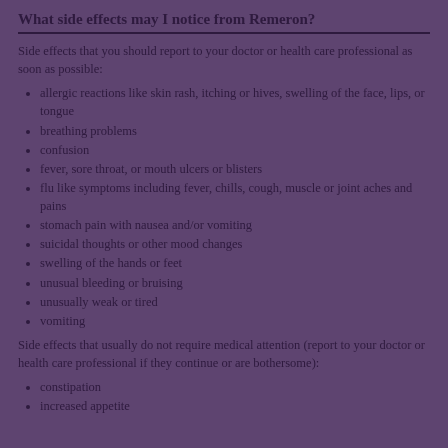What side effects may I notice from Remeron?
Side effects that you should report to your doctor or health care professional as soon as possible:
allergic reactions like skin rash, itching or hives, swelling of the face, lips, or tongue
breathing problems
confusion
fever, sore throat, or mouth ulcers or blisters
flu like symptoms including fever, chills, cough, muscle or joint aches and pains
stomach pain with nausea and/or vomiting
suicidal thoughts or other mood changes
swelling of the hands or feet
unusual bleeding or bruising
unusually weak or tired
vomiting
Side effects that usually do not require medical attention (report to your doctor or health care professional if they continue or are bothersome):
constipation
increased appetite